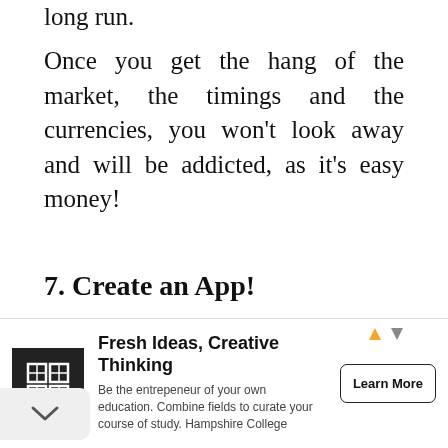long run.
Once you get the hang of the market, the timings and the currencies, you won't look away and will be addicted, as it's easy money!
7. Create an App!
[Figure (illustration): Illustration showing app development concept with cloud, devices, gears and text 'HOW MUCH DOES APP DEVELOPMENT']
[Figure (illustration): Advertisement: Fresh Ideas, Creative Thinking - Hampshire College. Logo with grid icon, Learn More button.]